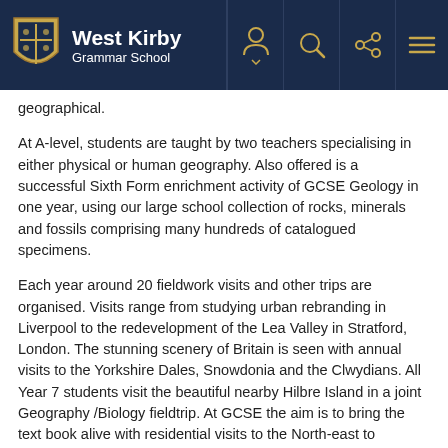West Kirby Grammar School
geographical.
At A-level, students are taught by two teachers specialising in either physical or human geography. Also offered is a successful Sixth Form enrichment activity of GCSE Geology in one year, using our large school collection of rocks, minerals and fossils comprising many hundreds of catalogued specimens.
Each year around 20 fieldwork visits and other trips are organised. Visits range from studying urban rebranding in Liverpool to the redevelopment of the Lea Valley in Stratford, London. The stunning scenery of Britain is seen with annual visits to the Yorkshire Dales, Snowdonia and the Clwydians. All Year 7 students visit the beautiful nearby Hilbre Island in a joint Geography /Biology fieldtrip. At GCSE the aim is to bring the text book alive with residential visits to the North-east to measure and follow the stunning River Tees from source to sea as well as working along the fast disappearing Holderness Coast. A-level students learn fieldwork skills in a 3-day residential trip to the Lake District. Students also have the opportunity to visit Iceland in February, as well as experiencing a 17-day field expedition to China...